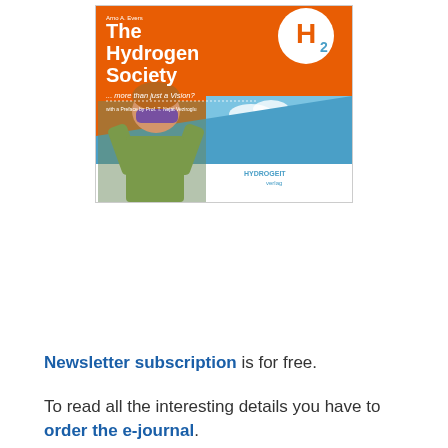[Figure (illustration): Book cover of 'The Hydrogen Society ... more than just a Vision?' by Arno A. Evers, featuring orange background with H2 logo circle, a boy looking through solar glasses, blue sky background, and HYDROGEIT publisher logo.]
Newsletter subscription is for free.
To read all the interesting details you have to order the e-journal.